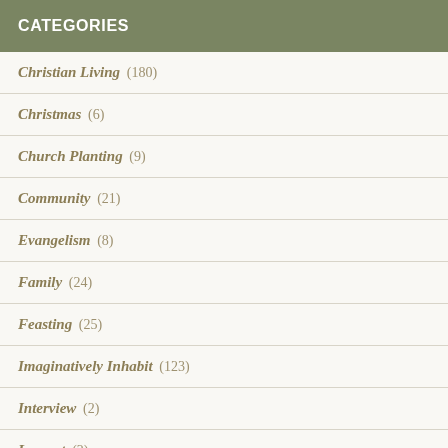Categories
Christian Living (180)
Christmas (6)
Church Planting (9)
Community (21)
Evangelism (8)
Family (24)
Feasting (25)
Imaginatively Inhabit (123)
Interview (2)
Lament (2)
Marriage (cut off)